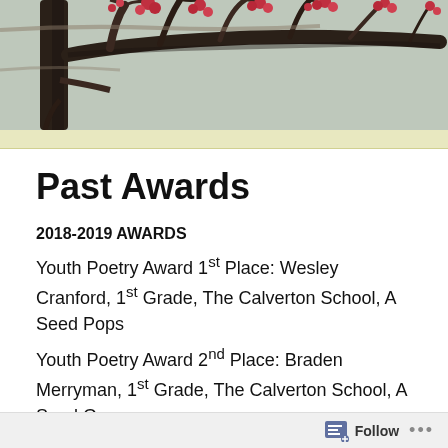[Figure (photo): Winter tree branches with red berries against a grey sky, used as a website header image.]
Past Awards
2018-2019 AWARDS
Youth Poetry Award 1st Place: Wesley Cranford, 1st Grade, The Calverton School, A Seed Pops
Youth Poetry Award 2nd Place: Braden Merryman, 1st Grade, The Calverton School, A Seed Grows
Youth Poetry Award 3rd Place: Emma Clas, 1st Grade, The Calverton School, Starts As A Seed
Youth Poetry Award 1st Place: Rowley Baird, 2nd Grade, The Calverton School, Seeds
Follow